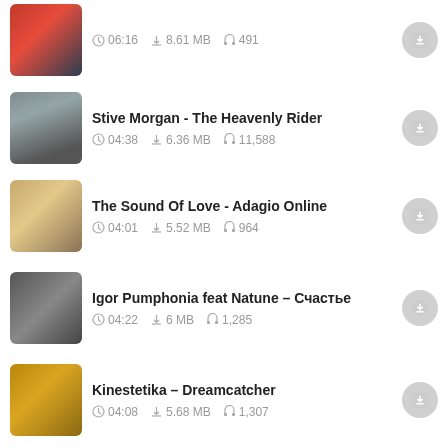06:16  8.61 MB  491
Stive Morgan - The Heavenly Rider
04:38  6.36 MB  11,588
The Sound Of Love - Adagio Online
04:01  5.52 MB  964
Igor Pumphonia feat Natune – Счастье
04:22  6 MB  1,285
Kinestetika – Dreamcatcher
04:08  5.68 MB  1,307
Recent Search
Sirf Tum Mp3